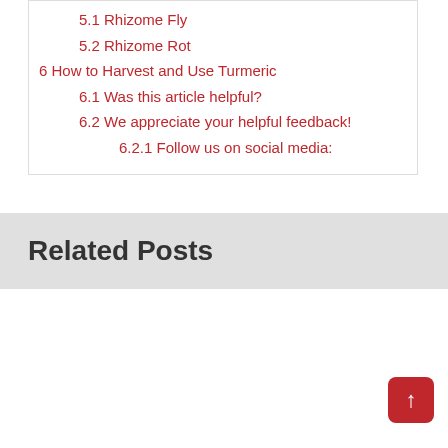5.1 Rhizome Fly
5.2 Rhizome Rot
6 How to Harvest and Use Turmeric
6.1 Was this article helpful?
6.2 We appreciate your helpful feedback!
6.2.1 Follow us on social media:
Related Posts